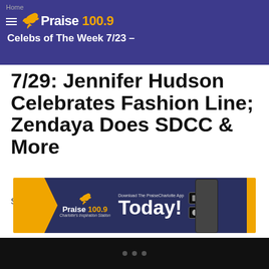Home
Praise 100.9 — Celebs of The Week 7/23 – 7/29: Jennifer Hudson Celebrates Fashion Line; Zendaya Does SDCC & More
7/29: Jennifer Hudson Celebrates Fashion Line; Zendaya Does SDCC & More
Sonya Eskridge
[Figure (infographic): Praise 100.9 Charlotte's Inspiration Station banner ad with 'Download The PraiseCharlotte App Today!' text and Google Play / App Store buttons and phone image]